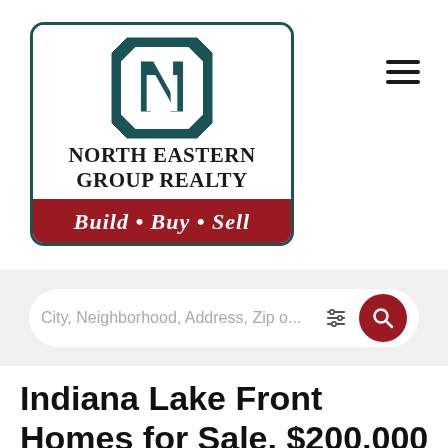[Figure (logo): North Eastern Group Realty logo: teal/dark green N icon, company name in bold serif, red banner with 'Build • Buy • Sell' tagline]
City, Neighborhood, Address, Zip o...
Indiana Lake Front Homes for Sale, $200,000 –